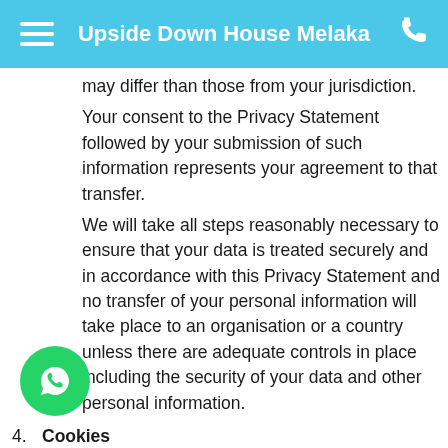Upside Down House Melaka
may differ than those from your jurisdiction.
Your consent to the Privacy Statement followed by your submission of such information represents your agreement to that transfer.
We will take all steps reasonably necessary to ensure that your data is treated securely and in accordance with this Privacy Statement and no transfer of your personal information will take place to an organisation or a country unless there are adequate controls in place including the security of your data and other personal information.
4. Cookies
Some of our website or Service may use cookies and similar tracking technologies to track the activity on our website or service and hold certain information.
Cookies are files with small amount of data which may include an anonymous unique identifier. Cookies are sent to your browser from a website and stored on your device.
In the event you do not wish to receive such cookies, you may configure your browser to not accept all or this or indicate…